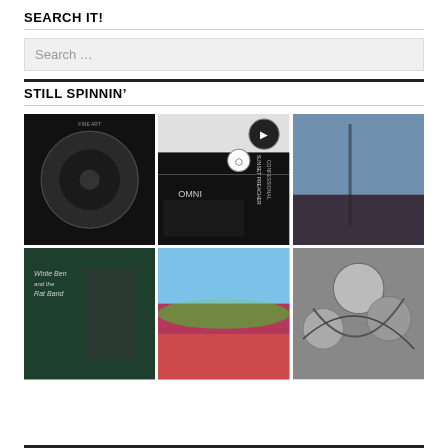SEARCH IT!
[Figure (screenshot): Search input box with placeholder text 'Search ...']
STILL SPINNIN'
[Figure (photo): Grid of 6 album covers: dark circular image, Omni/Sunset Preacher album art, landscape with tree at sunset, White Ben and the Rat Band album cover, colorful hillside landscape, black and white graphic pattern]